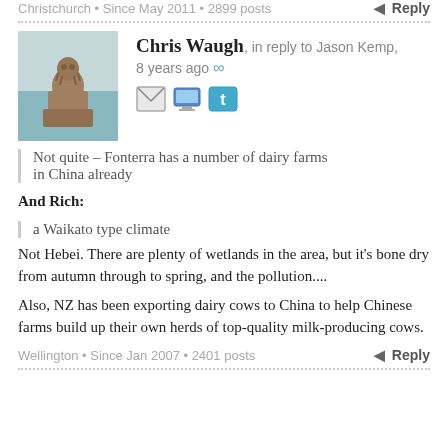Christchurch • Since May 2011 • 2899 posts
Reply
Chris Waugh, in reply to Jason Kemp, 8 years ago
[Figure (photo): Avatar photo of Chris Waugh showing a stone statue]
Not quite – Fonterra has a number of dairy farms in China already
And Rich:
a Waikato type climate
Not Hebei. There are plenty of wetlands in the area, but it's bone dry from autumn through to spring, and the pollution....
Also, NZ has been exporting dairy cows to China to help Chinese farms build up their own herds of top-quality milk-producing cows.
Wellington • Since Jan 2007 • 2401 posts
Reply